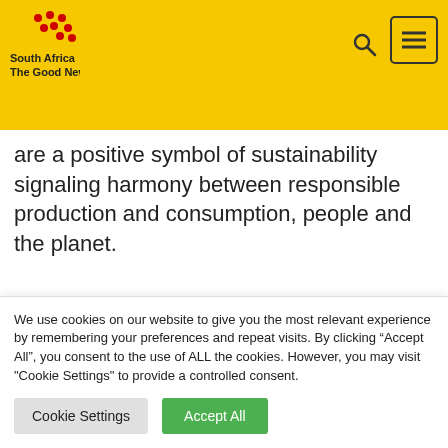South Africa The Good News
are a positive symbol of sustainability signaling harmony between responsible production and consumption, people and the planet.
This aligns to Sappi’s business strategy and
We use cookies on our website to give you the most relevant experience by remembering your preferences and repeat visits. By clicking “Accept All”, you consent to the use of ALL the cookies. However, you may visit "Cookie Settings" to provide a controlled consent.